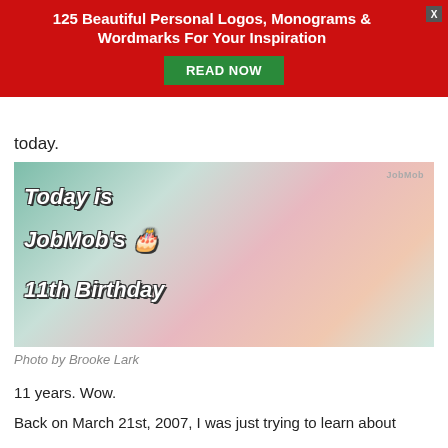125 Beautiful Personal Logos, Monograms & Wordmarks For Your Inspiration
READ NOW
today.
[Figure (photo): Birthday celebration photo showing star-shaped sprinkle cookies, a party hat, sparkler, and the text 'Today is JobMob's 11th Birthday' overlaid on the image. JobMob logo in top right corner.]
Photo by Brooke Lark
11 years. Wow.
Back on March 21st, 2007, I was just trying to learn about